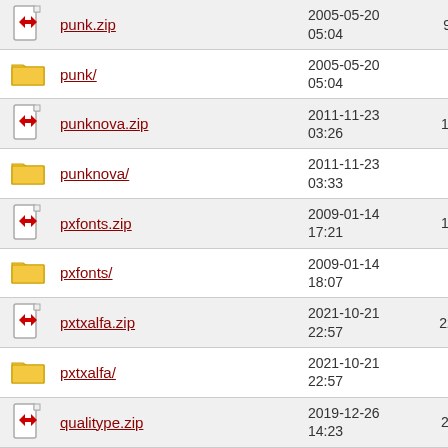| Icon | Name | Date | Size |
| --- | --- | --- | --- |
| [zip] | punk.zip | 2005-05-20 05:04 | 9.7K |
| [folder] | punk/ | 2005-05-20 05:04 | - |
| [zip] | punknova.zip | 2011-11-23 03:26 | 1.3M |
| [folder] | punknova/ | 2011-11-23 03:33 | - |
| [zip] | pxfonts.zip | 2009-01-14 17:21 | 1.0M |
| [folder] | pxfonts/ | 2009-01-14 18:07 | - |
| [zip] | pxtxalfa.zip | 2021-10-21 22:57 | 223K |
| [folder] | pxtxalfa/ | 2021-10-21 22:57 | - |
| [zip] | qualitype.zip | 2019-12-26 14:23 | 2.9M |
| [folder] | qualitype/ | 2019-12-26 14:23 | - |
| [zip] | quattrocento.zip | 2020-08-01 00:54 | 1.3M |
| [folder] | quattrocento/ | 2020-08-01 | - |